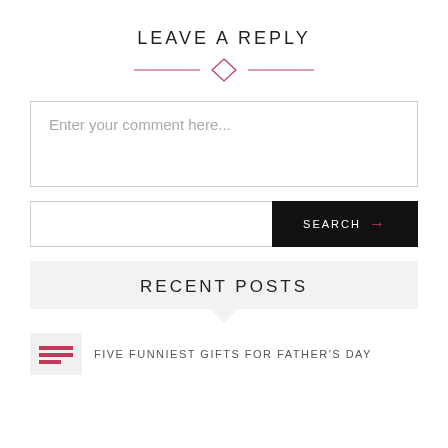LEAVE A REPLY
[Figure (illustration): Decorative horizontal divider with a diamond/rhombus shape in the center and lines on each side, pink/rose color]
Enter your comment here...
SEARCH →
RECENT POSTS
FIVE FUNNIEST GIFTS FOR FATHER'S DAY